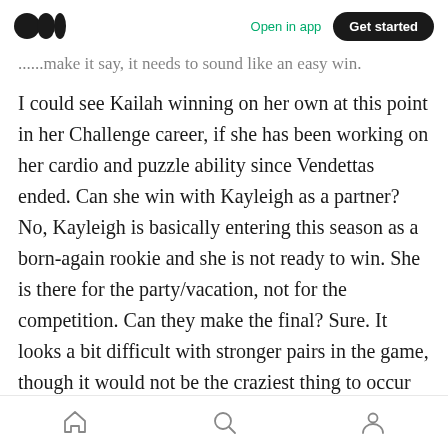Medium — Open in app  Get started
...make it say, it needs to sound like an easy win.
I could see Kailah winning on her own at this point in her Challenge career, if she has been working on her cardio and puzzle ability since Vendettas ended. Can she win with Kayleigh as a partner? No, Kayleigh is basically entering this season as a born-again rookie and she is not ready to win. She is there for the party/vacation, not for the competition. Can they make the final? Sure. It looks a bit difficult with stronger pairs in the game, though it would not be the craziest thing to occur on a Challenge. If there are
Home  Search  Profile